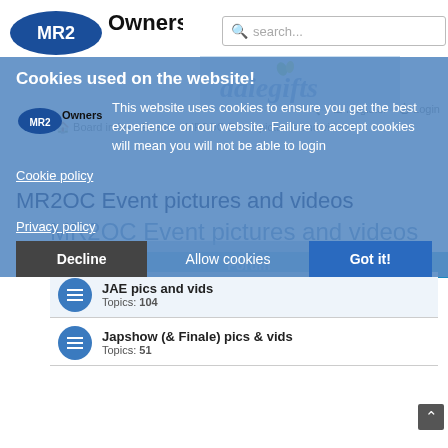[Figure (logo): MR2 Owners Club logo with blue oval and black text]
[Figure (screenshot): Search bar with placeholder text 'search...']
[Figure (logo): daiegifts advertisement banner]
Cookies used on the website!
This website uses cookies to ensure you get the best experience on our website. Failure to accept cookies will mean you will not be able to login
Cookie policy
MR2OC Event pictures and videos
Privacy policy
Decline   Allow cookies   Got it!
Forum
Board index   Events   MR2OC Event pictures and videos
MR2OC Event pictures and videos
JAE pics and vids
Topics: 104
Japshow (& Finale) pics & vids
Topics: 51